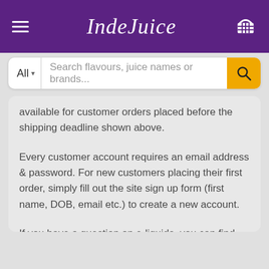IndeJuice
available for customer orders placed before the shipping deadline shown above.
Every customer account requires an email address & password. For new customers placing their first order, simply fill out the site sign up form (first name, DOB, email etc.) to create a new account.
If you have a question on e-liquids, you can find helpful answers in our vape guides or our FAQ section.